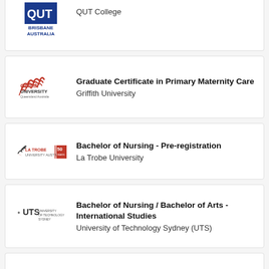[Figure (logo): QUT College logo with Brisbane Australia text]
QUT College
[Figure (logo): Griffith University logo - Queensland Australia]
Graduate Certificate in Primary Maternity Care
Griffith University
[Figure (logo): La Trobe University 50 Years logo]
Bachelor of Nursing - Pre-registration
La Trobe University
[Figure (logo): UTS University of Technology Sydney logo]
Bachelor of Nursing / Bachelor of Arts - International Studies
University of Technology Sydney (UTS)
Bachelor of Nursing (Enrolled Nurses)
ACU English Language Centres